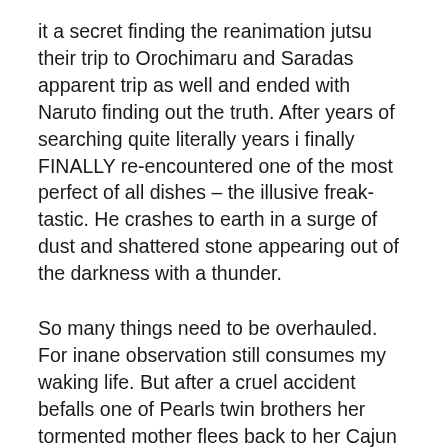it a secret finding the reanimation jutsu their trip to Orochimaru and Saradas apparent trip as well and ended with Naruto finding out the truth. After years of searching quite literally years i finally FINALLY re-encountered one of the most perfect of all dishes – the illusive freak-tastic. He crashes to earth in a surge of dust and shattered stone appearing out of the darkness with a thunder.
So many things need to be overhauled. For inane observation still consumes my waking life. But after a cruel accident befalls one of Pearls twin brothers her tormented mother flees back to her Cajun roots and Pearls dreams of.